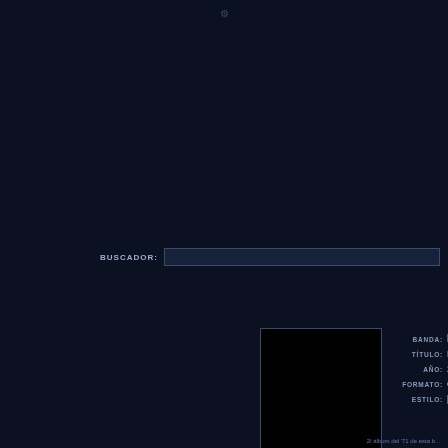BUSCADOR:
[Figure (screenshot): Album cover image, black square with border]
BANDA: NOR...
TÍTULO: Etern...
AÑO: 2021
FORMATO: CD
ESTILO: [HEAV...
2l álbum del '71 de esta b...